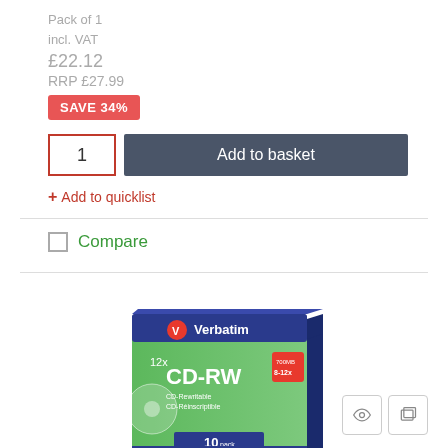Pack of 1
incl. VAT
£22.12
RRP £27.99
SAVE 34%
1
Add to basket
+ Add to quicklist
Compare
[Figure (photo): Verbatim 12x CD-RW 10-pack product box, green and blue packaging]